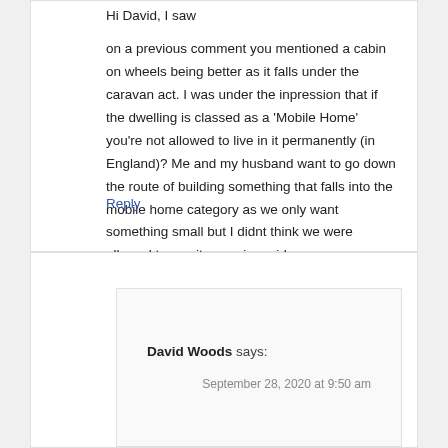Hi David, I saw on a previous comment you mentioned a cabin on wheels being better as it falls under the caravan act. I was under the inpression that if the dwelling is classed as a 'Mobile Home' you're not allowed to live in it permanently (in England)? Me and my husband want to go down the route of building something that falls into the mobile home category as we only want something small but I didnt think we were allowed to use it as main residence.
Reply
David Woods says:
September 28, 2020 at 9:50 am